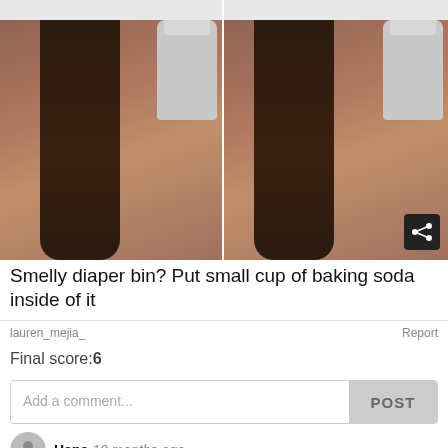[Figure (screenshot): Two side-by-side video screenshots of a woman with long dark hair near a toilet/bathroom, with a share icon in the bottom-right corner]
Smelly diaper bin? Put small cup of baking soda inside of it
lauren_mejia_
Report
Final score:6
Add a comment...
POST
Hans  10 months ago
...or simply well close used diapers and bring the bag to the
[Figure (screenshot): Advertisement banner for Women's Fashion | Shop Online | VENUS - venus.com - with a woman in fashion clothing and a blue arrow button]